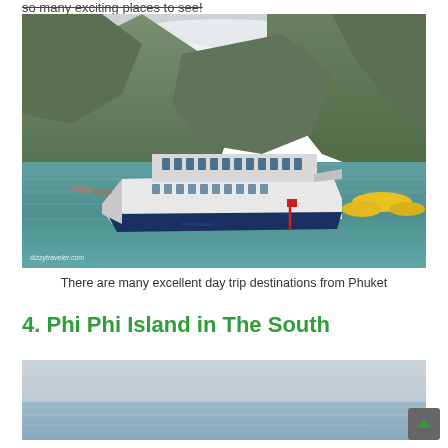so many exciting places to see!
[Figure (photo): A large white passenger ferry boat on turquoise-green water with dramatic limestone cliffs covered in lush green vegetation in the background; several yellow boats visible on the right; overcast sky; watermark reading dizzytraveler.com]
There are many excellent day trip destinations from Phuket
4. Phi Phi Island in The South
[Figure (photo): Partial view of a coastal or seascape scene with pale sky and calm water, bottom of the next article's lead image]